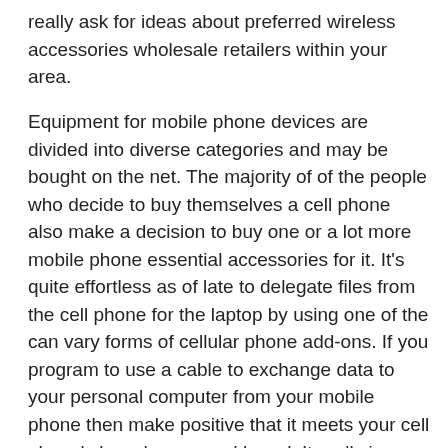really ask for ideas about preferred wireless accessories wholesale retailers within your area.
Equipment for mobile phone devices are divided into diverse categories and may be bought on the net. The majority of of the people who decide to buy themselves a cell phone also make a decision to buy one or a lot more mobile phone essential accessories for it. It's quite effortless as of late to delegate files from the cell phone for the laptop by using one of the can vary forms of cellular phone add-ons. If you program to use a cable to exchange data to your personal computer from your mobile phone then make positive that it meets your cell phone's brand name and brand. It really is simple to decide on a case for the mobile phone because they may be provided in countless distinct colors, materials and sizes. It can be well-known that plenty of men and women prefer to buy a brand new cell phone just about every few months that is possible for the reason that they have enough revenue. Every single month you will discover new styles of cellular phones released out there with each other with various cell phone components.